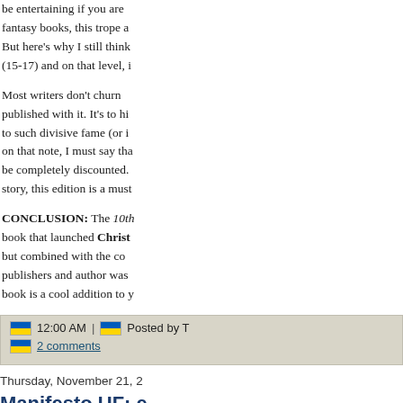be entertaining if you are fantasy books, this trope a But here's why I still think (15-17) and on that level, i
Most writers don't churn published with it. It's to hi to such divisive fame (or i on that note, I must say tha be completely discounted. story, this edition is a must
CONCLUSION: The 10th book that launched Christ but combined with the co publishers and author was book is a cool addition to y
12:00 AM | Posted by T
2 comments
Thursday, November 21, 2
Manifesto UF: e Mauermann (re